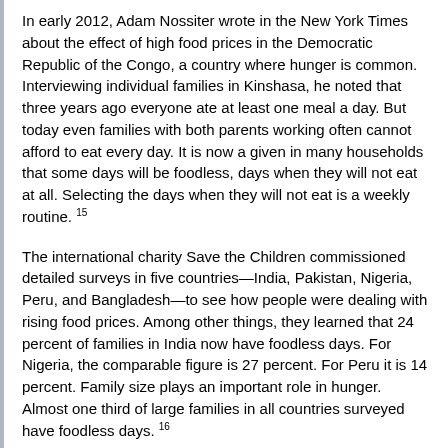In early 2012, Adam Nossiter wrote in the New York Times about the effect of high food prices in the Democratic Republic of the Congo, a country where hunger is common. Interviewing individual families in Kinshasa, he noted that three years ago everyone ate at least one meal a day. But today even families with both parents working often cannot afford to eat every day. It is now a given in many households that some days will be foodless, days when they will not eat at all. Selecting the days when they will not eat is a weekly routine. 15
The international charity Save the Children commissioned detailed surveys in five countries—India, Pakistan, Nigeria, Peru, and Bangladesh—to see how people were dealing with rising food prices. Among other things, they learned that 24 percent of families in India now have foodless days. For Nigeria, the comparable figure is 27 percent. For Peru it is 14 percent. Family size plays an important role in hunger. Almost one third of large families in all countries surveyed have foodless days. 16
Historically there have been two sources of grain demand growth. The oldest of these is population growth. Each year the world adds nearly 80 million people. Tonight there will be 219,000 people at the dinner table who were not there last night, many of them with empty plates. Tomorrow night there will be another 219,000 people. Relentless population growth is putting excessive pressure on local land and water resources in many countries, making it difficult if not impossible for farmers to keep up.